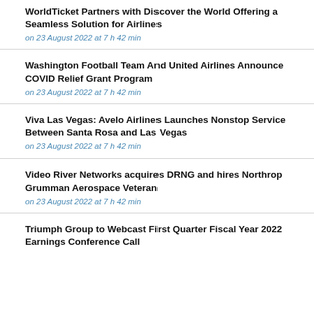WorldTicket Partners with Discover the World Offering a Seamless Solution for Airlines
on 23 August 2022 at 7 h 42 min
Washington Football Team And United Airlines Announce COVID Relief Grant Program
on 23 August 2022 at 7 h 42 min
Viva Las Vegas: Avelo Airlines Launches Nonstop Service Between Santa Rosa and Las Vegas
on 23 August 2022 at 7 h 42 min
Video River Networks acquires DRNG and hires Northrop Grumman Aerospace Veteran
on 23 August 2022 at 7 h 42 min
Triumph Group to Webcast First Quarter Fiscal Year 2022 Earnings Conference Call